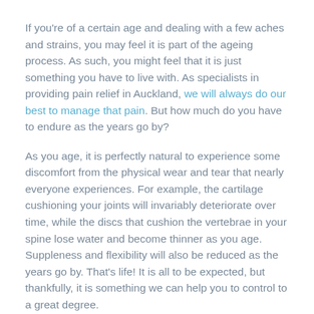If you're of a certain age and dealing with a few aches and strains, you may feel it is part of the ageing process. As such, you might feel that it is just something you have to live with. As specialists in providing pain relief in Auckland, we will always do our best to manage that pain. But how much do you have to endure as the years go by?
As you age, it is perfectly natural to experience some discomfort from the physical wear and tear that nearly everyone experiences. For example, the cartilage cushioning your joints will invariably deteriorate over time, while the discs that cushion the vertebrae in your spine lose water and become thinner as you age. Suppleness and flexibility will also be reduced as the years go by. That's life! It is all to be expected, but thankfully, it is something we can help you to control to a great degree.
When left untreated though, maybe because you feel it's just "one of those things" that comes with age, discomfort can become chronic pain. This will worsen